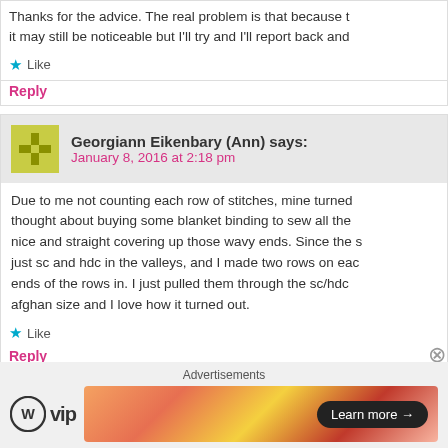Thanks for the advice. The real problem is that because t... it may still be noticeable but I'll try and I'll report back and...
Like
Reply
Georgiann Eikenbary (Ann) says:
January 8, 2016 at 2:18 pm
Due to me not counting each row of stitches, mine turned... thought about buying some blanket binding to sew all the... nice and straight covering up those wavy ends. Since the s... just sc and hdc in the valleys, and I made two rows on eac... ends of the rows in. I just pulled them through the sc/hdc... afghan size and I love how it turned out.
Like
Reply
Advertisements
VIP Learn more →